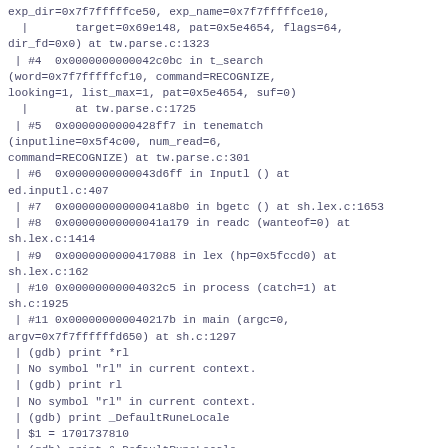exp_dir=0x7f7fffffce50, exp_name=0x7f7fffffce10,
  |       target=0x69e148, pat=0x5e4654, flags=64,
dir_fd=0x0) at tw.parse.c:1323
 | #4  0x0000000000042c0bc in t_search
(word=0x7f7fffffcf10, command=RECOGNIZE,
looking=1, list_max=1, pat=0x5e4654, suf=0)
  |       at tw.parse.c:1725
 | #5  0x0000000000428ff7 in tenematch
(inputline=0x5f4c00, num_read=6,
command=RECOGNIZE) at tw.parse.c:301
 | #6  0x0000000000043d6ff in Inputl () at
ed.inputl.c:407
 | #7  0x00000000000041a8b0 in bgetc () at sh.lex.c:1653
 | #8  0x00000000000041a179 in readc (wanteof=0) at
sh.lex.c:1414
 | #9  0x0000000000417088 in lex (hp=0x5fccd0) at
sh.lex.c:162
 | #10 0x00000000004032c5 in process (catch=1) at
sh.c:1925
 | #11 0x000000000040217b in main (argc=0,
argv=0x7f7ffffffd650) at sh.c:1297
 | (gdb) print *rl
 | No symbol "rl" in current context.
 | (gdb) print rl
 | No symbol "rl" in current context.
 | (gdb) print _DefaultRuneLocale
 | $1 = 1701737810
 | (gdb) print &_DefaultRuneLocale
 | $2 = (<data variable, no debug info> *) 0x4c5060
 | (gdb)